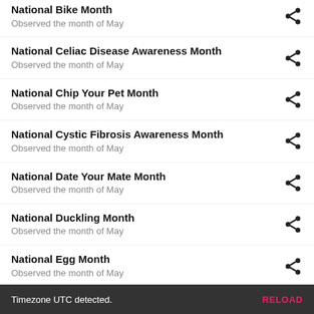National Bike Month
Observed the month of May
National Celiac Disease Awareness Month
Observed the month of May
National Chip Your Pet Month
Observed the month of May
National Cystic Fibrosis Awareness Month
Observed the month of May
National Date Your Mate Month
Observed the month of May
National Duckling Month
Observed the month of May
National Egg Month
Observed the month of May
National Foster Care Month
Observed the month of May
Timezone UTC detected.  RELOAD